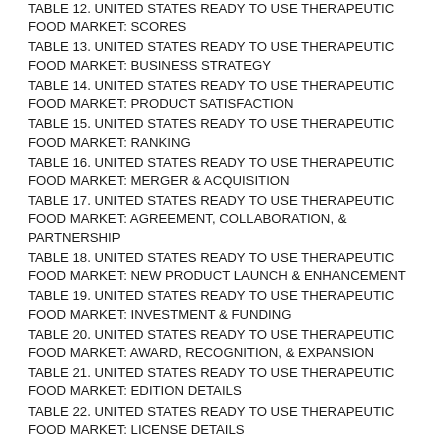TABLE 12. UNITED STATES READY TO USE THERAPEUTIC FOOD MARKET: SCORES
TABLE 13. UNITED STATES READY TO USE THERAPEUTIC FOOD MARKET: BUSINESS STRATEGY
TABLE 14. UNITED STATES READY TO USE THERAPEUTIC FOOD MARKET: PRODUCT SATISFACTION
TABLE 15. UNITED STATES READY TO USE THERAPEUTIC FOOD MARKET: RANKING
TABLE 16. UNITED STATES READY TO USE THERAPEUTIC FOOD MARKET: MERGER & ACQUISITION
TABLE 17. UNITED STATES READY TO USE THERAPEUTIC FOOD MARKET: AGREEMENT, COLLABORATION, & PARTNERSHIP
TABLE 18. UNITED STATES READY TO USE THERAPEUTIC FOOD MARKET: NEW PRODUCT LAUNCH & ENHANCEMENT
TABLE 19. UNITED STATES READY TO USE THERAPEUTIC FOOD MARKET: INVESTMENT & FUNDING
TABLE 20. UNITED STATES READY TO USE THERAPEUTIC FOOD MARKET: AWARD, RECOGNITION, & EXPANSION
TABLE 21. UNITED STATES READY TO USE THERAPEUTIC FOOD MARKET: EDITION DETAILS
TABLE 22. UNITED STATES READY TO USE THERAPEUTIC FOOD MARKET: LICENSE DETAILS